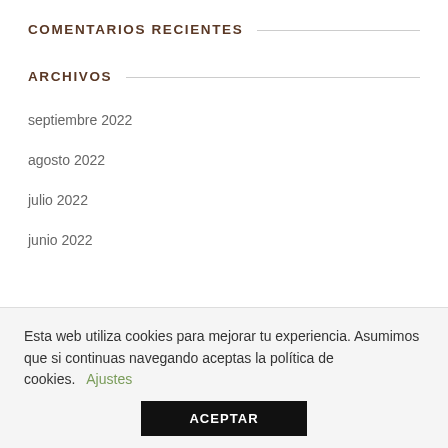COMENTARIOS RECIENTES
ARCHIVOS
septiembre 2022
agosto 2022
julio 2022
junio 2022
Esta web utiliza cookies para mejorar tu experiencia. Asumimos que si continuas navegando aceptas la política de cookies. Ajustes
ACEPTAR